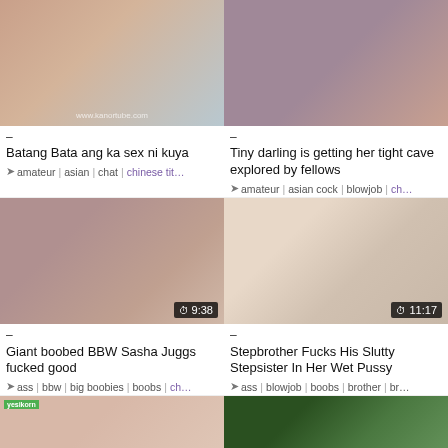[Figure (screenshot): Video thumbnail 1 - close up skin tones with watermark www.kanortube.com]
[Figure (screenshot): Video thumbnail 2 - two people on couch with pillow]
–
Batang Bata ang ka sex ni kuya
–
Tiny darling is getting her tight cave explored by fellows
amateur | asian | chat | chinese tit…
amateur | asian cock | blowjob | ch…
[Figure (screenshot): Video thumbnail 3 - duration 9:38 - bald man with woman]
[Figure (screenshot): Video thumbnail 4 - duration 11:17 - woman reading on couch]
–
Giant boobed BBW Sasha Juggs fucked good
–
Stepbrother Fucks His Slutty Stepsister In Her Wet Pussy
ass | bbw | big boobies | boobs | ch…
ass | blowjob | boobs | brother | br…
[Figure (screenshot): Video thumbnail 5 - duration 51:40 - yesikorn badge]
[Figure (screenshot): Video thumbnail 6 - duration 14:22 - outdoor scene]